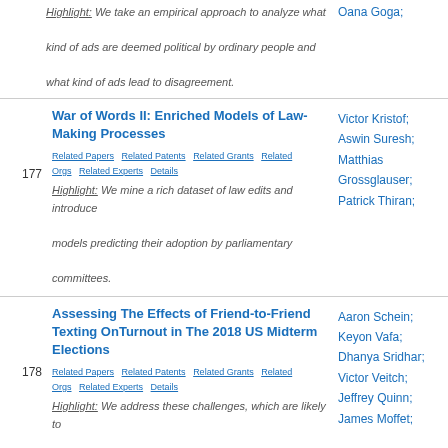Highlight: We take an empirical approach to analyze what kind of ads are deemed political by ordinary people and what kind of ads lead to disagreement.
Oana Goga;
War of Words II: Enriched Models of Law-Making Processes
Related Papers  Related Patents  Related Grants  Related Orgs  Related Experts  Details
177
Highlight: We mine a rich dataset of law edits and introduce models predicting their adoption by parliamentary committees.
Victor Kristof; Aswin Suresh; Matthias Grossglauser; Patrick Thiran;
Assessing The Effects of Friend-to-Friend Texting OnTurnout in The 2018 US Midterm Elections
Related Papers  Related Patents  Related Grants  Related Orgs  Related Experts  Details
178
Highlight: We address these challenges, which are likely to impinge upon any study that seeks to randomize authentic
Aaron Schein; Keyon Vafa; Dhanya Sridhar; Victor Veitch; Jeffrey Quinn; James Moffet;